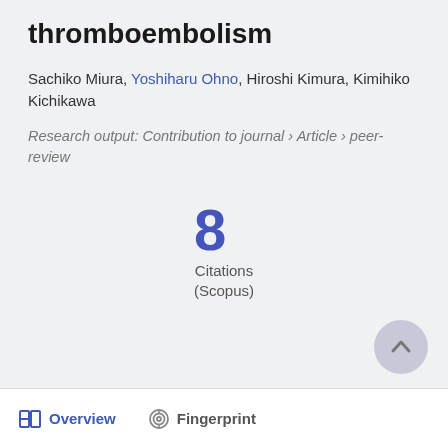thromboembolism
Sachiko Miura, Yoshiharu Ohno, Hiroshi Kimura, Kimihiko Kichikawa
Research output: Contribution to journal › Article › peer-review
8 Citations (Scopus)
Overview  Fingerprint